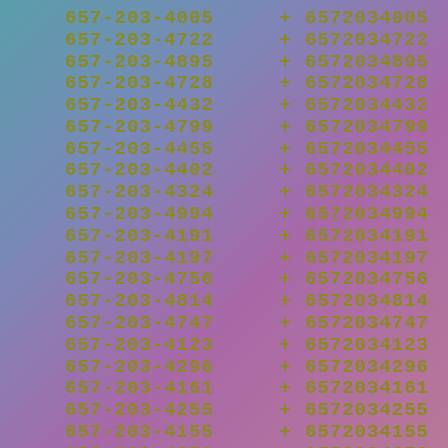657-203-4005 + 6572034005
657-203-4722 + 6572034722
657-203-4895 + 6572034895
657-203-4728 + 6572034728
657-203-4432 + 6572034432
657-203-4799 + 6572034799
657-203-4455 + 6572034455
657-203-4402 + 6572034402
657-203-4324 + 6572034324
657-203-4994 + 6572034994
657-203-4191 + 6572034191
657-203-4197 + 6572034197
657-203-4756 + 6572034756
657-203-4814 + 6572034814
657-203-4747 + 6572034747
657-203-4123 + 6572034123
657-203-4296 + 6572034296
657-203-4161 + 6572034161
657-203-4255 + 6572034255
657-203-4155 + 6572034155
657-203-4876 + 6572034876
657-203-4515 + 6572034515